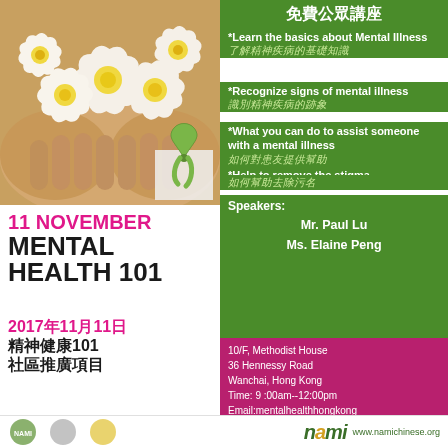[Figure (photo): Hands holding white and yellow plumeria/frangipani flowers, with a green mental health awareness ribbon in the corner]
免費公眾講座
*Learn the basics about Mental Illness
了解精神疾病的基礎知識
*Recognize signs of mental illness
識別精神疾病的跡象
*What you can do to assist someone with a mental illness
如何對患友提供幫助
*Help to remove the stigma
如何幫助去除污名
Speakers:
Mr. Paul Lu
Ms. Elaine Peng
11 NOVEMBER
MENTAL
HEALTH 101
2017年11月11日
精神健康101
社區推廣項目
10/F, Methodist House
36 Hennessy Road
Wanchai, Hong Kong
Time: 9:00am--12:00pm
Email:mentalhealthhongkong
@gmail.com
Contact:  Ms. Kimberly Ho
nami www.namichinese.org